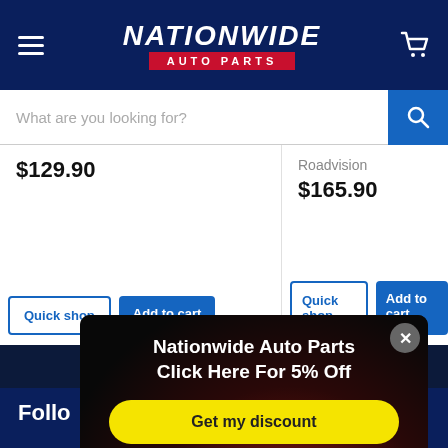Nationwide Auto Parts
$129.90
Roadvision
$165.90
Quick shop | Add to cart
Quick shop | Add to cart
[Figure (screenshot): Popup modal with dark background showing 'Nationwide Auto Parts Click Here For 5% Off' with a yellow 'Get my discount' button and 'No thanks' / 'Chat with us' options]
Nationwide Auto Parts
Click Here For 5% Off
Get my discount
No thanks
Chat with us
Follo